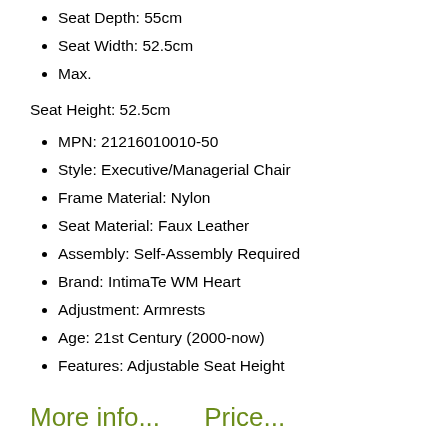Seat Depth: 55cm
Seat Width: 52.5cm
Max.
Seat Height: 52.5cm
MPN: 21216010010-50
Style: Executive/Managerial Chair
Frame Material: Nylon
Seat Material: Faux Leather
Assembly: Self-Assembly Required
Brand: IntimaTe WM Heart
Adjustment: Armrests
Age: 21st Century (2000-now)
Features: Adjustable Seat Height
More info...   Price...
Search